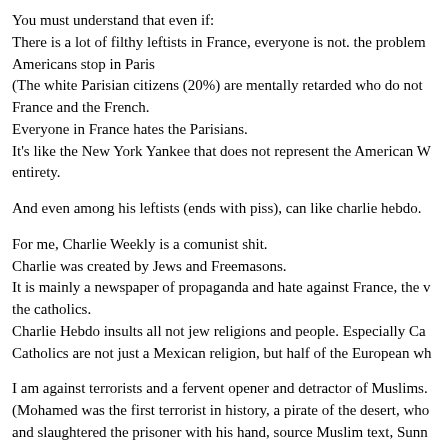You must understand that even if:
There is a lot of filthy leftists in France, everyone is not. the problem
Americans stop in Paris
(The white Parisian citizens (20%) are mentally retarded who do not
France and the French.
Everyone in France hates the Parisians.
It’s like the New York Yankee that does not represent the American W entirety.
And even among his leftists (ends with piss), can like charlie hebdo.
For me, Charlie Weekly is a comunist shit.
Charlie was created by Jews and Freemasons.
It is mainly a newspaper of propaganda and hate against France, the v the catholics.
Charlie Hebdo insults all not jew religions and people. Especially Ca
Catholics are not just a Mexican religion, but half of the European wh
I am against terrorists and a fervent opener and detractor of Muslims.
(Mohamed was the first terrorist in history, a pirate of the desert, who and slaughtered the prisoner with his hand, source Muslim text, Sunn mohamed)
But I still feel the caricatures of their prophet.
Ib...